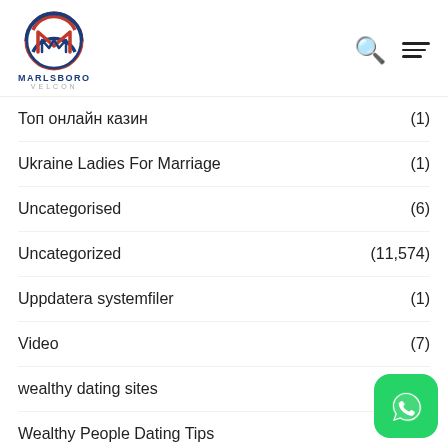[Figure (logo): Marlsboro Velcon circular logo with red and blue M design, company name MARLSBORO VELCON below]
Топ онлайн казин (1)
Ukraine Ladies For Marriage (1)
Uncategorised (6)
Uncategorized (11,574)
Uppdatera systemfiler (1)
Video (7)
wealthy dating sites (1)
Wealthy People Dating Tips
[Figure (logo): WhatsApp green rounded square icon]